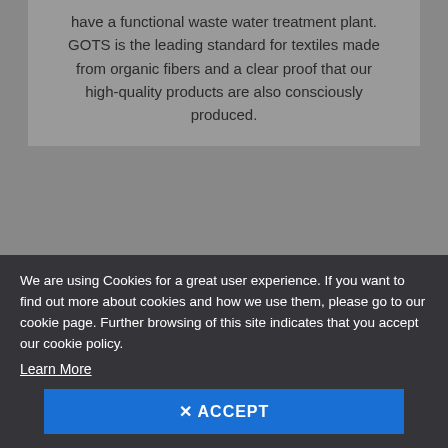have a functional waste water treatment plant. GOTS is the leading standard for textiles made from organic fibers and a clear proof that our high-quality products are also consciously produced.
[Figure (logo): Carbon offset commission transport circular logo — a green circular badge with black ring and text reading 'Carbon offset' at top and 'commission' at bottom, with 'TRANSPORT' below]
We are using Cookies for a great user experience. If you want to find out more about cookies and how we use them, please go to our cookie page. Further browsing of this site indicates that you accept our cookie policy. Learn More